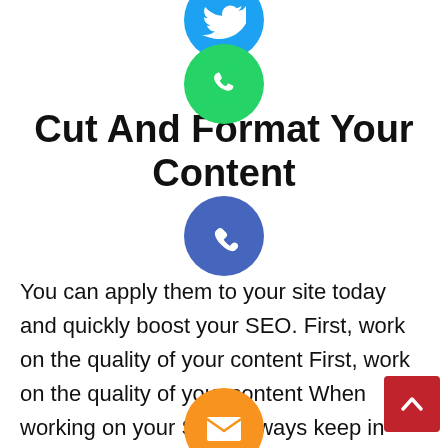[Figure (illustration): Social media sharing icons: Twitter (blue, partially visible at top), WhatsApp (green), Phone/Viber call (blue-purple), Email (orange envelope), LINE (green), Viber (purple), Close/X (green). Arranged vertically in center of page overlapping title and body text.]
Cut And Format Your Content
You can apply them to your site today and quickly boost your SEO. First, work on the quality of your content First, work on the quality of your content When working on your SEO, always keep in mind. Exceptional content can be ranked very well without working on its SEO, Poor quality content will never take off even with SEO work, Good content can only get better by working on SEO. It's not easy to write great content, but at least here are 4 criteria for good content: Original content Ideally, all the